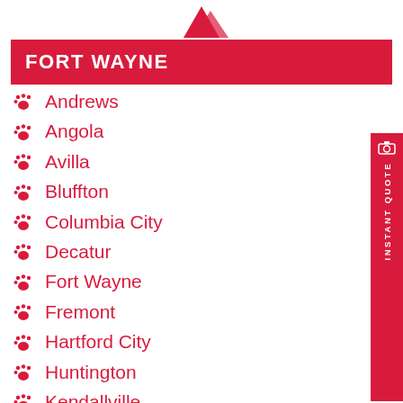FORT WAYNE
Andrews
Angola
Avilla
Bluffton
Columbia City
Decatur
Fort Wayne
Fremont
Hartford City
Huntington
Kendallville
Leo-Cedarville
Marion
Markle